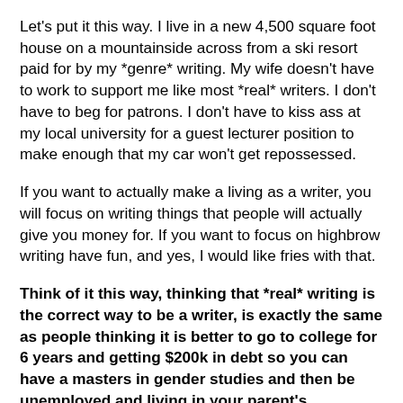Let's put it this way. I live in a new 4,500 square foot house on a mountainside across from a ski resort paid for by my *genre* writing. My wife doesn't have to work to support me like most *real* writers. I don't have to beg for patrons. I don't have to kiss ass at my local university for a guest lecturer position to make enough that my car won't get repossessed.
If you want to actually make a living as a writer, you will focus on writing things that people will actually give you money for. If you want to focus on highbrow writing have fun, and yes, I would like fries with that.
Think of it this way, thinking that *real* writing is the correct way to be a writer, is exactly the same as people thinking it is better to go to college for 6 years and getting $200k in debt so you can have a masters in gender studies and then be unemployed and living in your parent's basement, but still looking down your nose at the debt free guy who makes $30